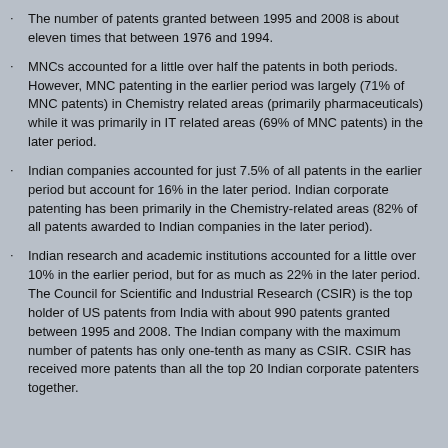The number of patents granted between 1995 and 2008 is about eleven times that between 1976 and 1994.
MNCs accounted for a little over half the patents in both periods. However, MNC patenting in the earlier period was largely (71% of MNC patents) in Chemistry related areas (primarily pharmaceuticals) while it was primarily in IT related areas (69% of MNC patents) in the later period.
Indian companies accounted for just 7.5% of all patents in the earlier period but account for 16% in the later period. Indian corporate patenting has been primarily in the Chemistry-related areas (82% of all patents awarded to Indian companies in the later period).
Indian research and academic institutions accounted for a little over 10% in the earlier period, but for as much as 22% in the later period. The Council for Scientific and Industrial Research (CSIR) is the top holder of US patents from India with about 990 patents granted between 1995 and 2008. The Indian company with the maximum number of patents has only one-tenth as many as CSIR. CSIR has received more patents than all the top 20 Indian corporate patenters together.